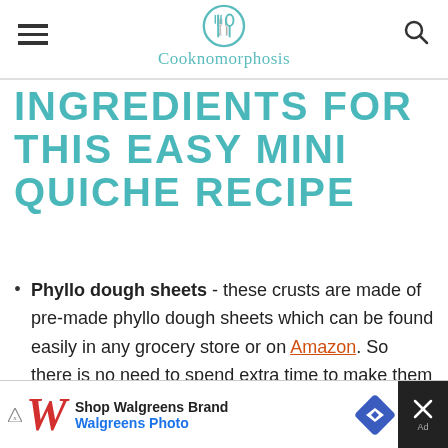Cooknomorphosis
INGREDIENTS FOR THIS EASY MINI QUICHE RECIPE
Phyllo dough sheets - these crusts are made of pre-made phyllo dough sheets which can be found easily in any grocery store or on Amazon. So there is no need to spend extra time to make them crust.
However, if you insist on making the
[Figure (other): Walgreens ad banner at page bottom: Shop Walgreens Brand / Walgreens Photo with navigation icon and close button]